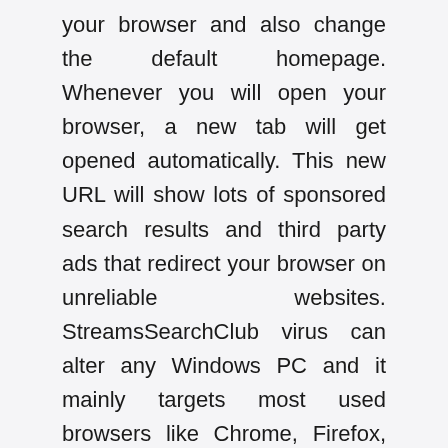your browser and also change the default homepage. Whenever you will open your browser, a new tab will get opened automatically. This new URL will show lots of sponsored search results and third party ads that redirect your browser on unreliable websites. StreamsSearchClub virus can alter any Windows PC and it mainly targets most used browsers like Chrome, Firefox, Safari, IE, Edge and others.
Browser hijackers can cause major damage
Threats like StreamsSearchClub virus can be